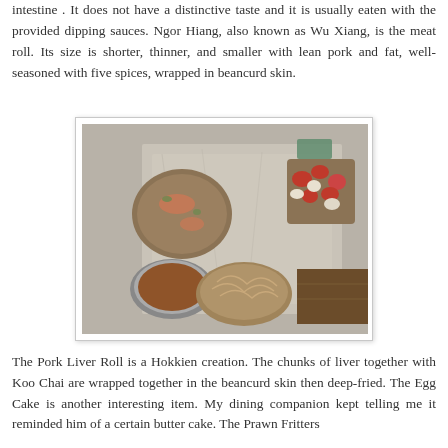intestine . It does not have a distinctive taste and it is usually eaten with the provided dipping sauces. Ngor Hiang, also known as Wu Xiang, is the meat roll. Its size is shorter, thinner, and smaller with lean pork and fat, well-seasoned with five spices, wrapped in beancurd skin.
[Figure (photo): Overhead photo of various Hokkien food items on crinkled foil: a prawn fritter, a bowl of dipping sauce, a golden shredded noodle mound, and a serving of red and white items, arranged on a wooden surface.]
The Pork Liver Roll is a Hokkien creation. The chunks of liver together with Koo Chai are wrapped together in the beancurd skin then deep-fried. The Egg Cake is another interesting item. My dining companion kept telling me it reminded him of a certain butter cake. The Prawn Fritters